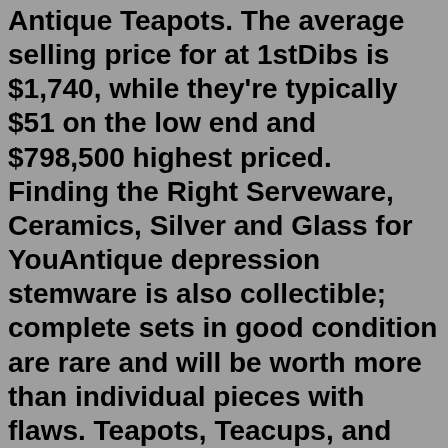Antique Teapots. The average selling price for at 1stDibs is $1,740, while they're typically $51 on the low end and $798,500 highest priced. Finding the Right Serveware, Ceramics, Silver and Glass for YouAntique depression stemware is also collectible; complete sets in good condition are rare and will be worth more than individual pieces with flaws. Teapots, Teacups, and Coffee Pots Teapots and teacups, primarily made from porcelain and china, can be valued at fairly high prices if they are aged, authentic, and in good condition.Here are the 15 most valuable antique teapots. most expensive Antique teapot Worth Money 1. Tiffany and Co. Sterling Silver Tea and Coffee Tiffany and Co. have one of the best antique sterling silver teapots. You'll love the set of six fabulous teapots because of their design. The teapots have a great style with a bird's nest pattern.The £120 teapot that brewed up £140,000: Auctioneers discover silver pot is part of precious collection of antiques from Tibet. Shocked owner delighted as heirlooms fetch record price at TV